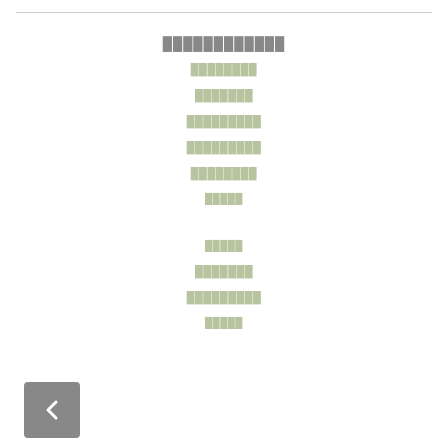████████████
████████
███████
█████████
█████████
████████
█████
█████
███████
█████████
█████